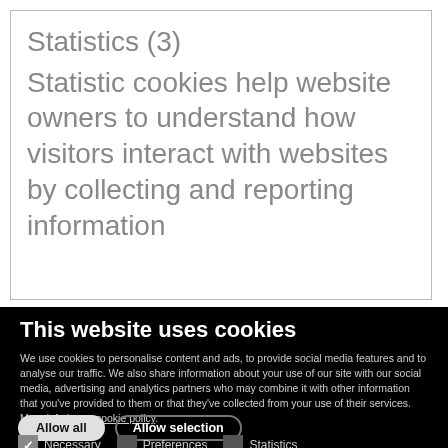Statistics (3)
Statistic cookies help website owners to understand how visitors interact with websites by collecting and reporting information
This website uses cookies
We use cookies to personalise content and ads, to provide social media features and to analyse our traffic. We also share information about your use of our site with our social media, advertising and analytics partners who may combine it with other information that you've provided to them or that they've collected from your use of their services. More info in our cookie policy.
Allow all  Allow selection
Necessary  Preferences  Statistics  Marketing